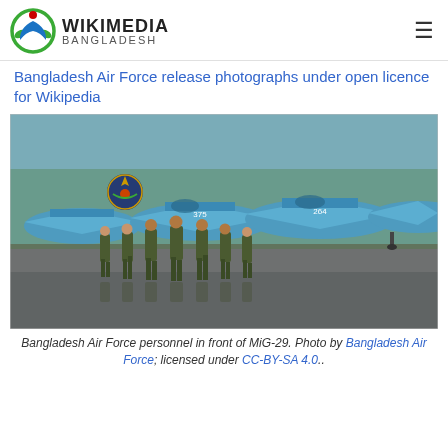WIKIMEDIA BANGLADESH
Bangladesh Air Force release photographs under open licence for Wikipedia
[Figure (photo): Bangladesh Air Force personnel in olive flight suits walking on a wet tarmac in front of a row of blue MiG-29 fighter jets. A Bangladesh Air Force emblem is visible in the upper left of the photo.]
Bangladesh Air Force personnel in front of MiG-29. Photo by Bangladesh Air Force; licensed under CC-BY-SA 4.0..